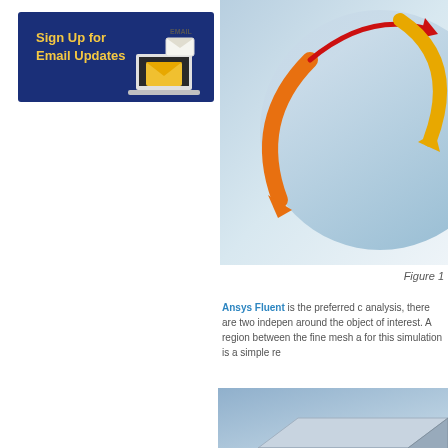[Figure (illustration): Email signup banner with dark blue background, yellow text 'Sign Up for Email Updates', and a laptop with an email envelope icon]
[Figure (engineering-diagram): Partial engineering diagram showing curved arrows (orange/red) around an object with blue background, cut off on the right]
Figure 1
Ansys Fluent is the preferred c... analysis, there are two indepen... around the object of interest. A... region between the fine mesh a... for this simulation is a simple re...
[Figure (engineering-diagram): Partial 3D rectangular box/enclosure shown in perspective view with blue gradient background, cut off at bottom of page]